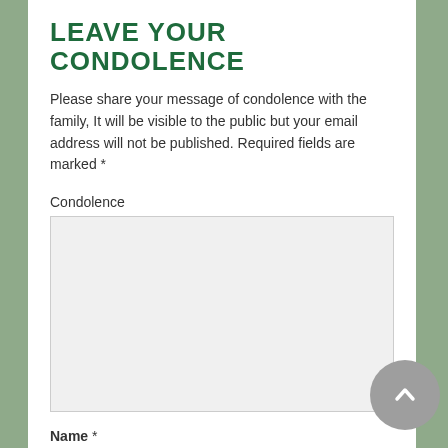LEAVE YOUR CONDOLENCE
Please share your message of condolence with the family, It will be visible to the public but your email address will not be published. Required fields are marked *
Condolence
[Figure (other): Large textarea input box for condolence message with resize handle]
Name *
[Figure (other): Text input field for Name]
[Figure (other): Back to top button - circular grey button with upward chevron arrow]